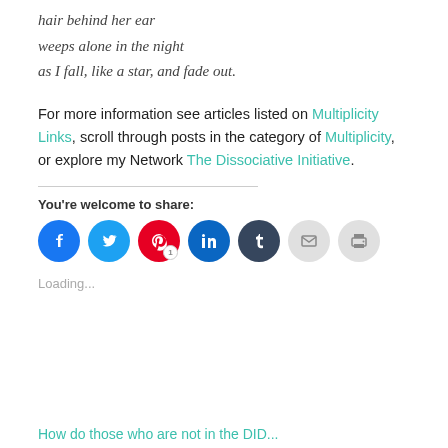hair behind her ear
weeps alone in the night
as I fall, like a star, and fade out.
For more information see articles listed on Multiplicity Links, scroll through posts in the category of Multiplicity, or explore my Network The Dissociative Initiative.
You're welcome to share:
[Figure (infographic): Row of social share buttons: Facebook (blue circle), Twitter (light blue circle), Pinterest (red circle with badge '1'), LinkedIn (blue circle), Tumblr (dark blue circle), Email (gray circle), Print (gray circle)]
Loading...